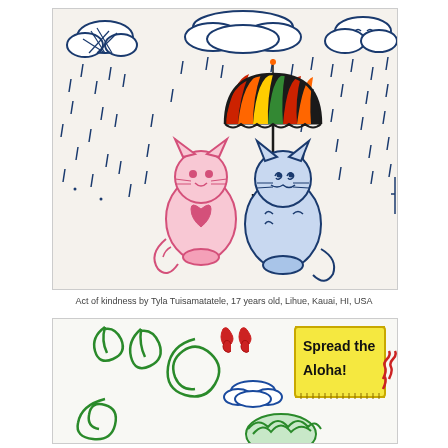[Figure (illustration): Children's drawing of two cartoon cats (one pink, one blue) sitting under a colorful striped umbrella in the rain. Dark blue rain drops fall from fluffy outlined clouds. The pink cat is on the left, the blue cat holds the umbrella on the right.]
Act of kindness by Tyla Tuisamatatele, 17 years old, Lihue, Kauai, HI, USA
[Figure (illustration): Children's drawing featuring green spiral and swirl patterns, two red flame-like shapes, blue outlined clouds, a yellow ruler/banner reading 'Spread the Aloha!', red zigzag shapes, and a green bush at the bottom right.]